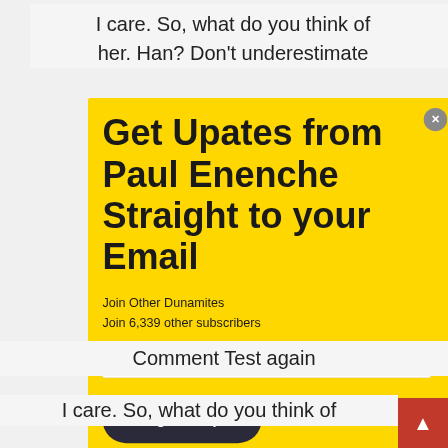I care. So, what do you think of her. Han? Don't underestimate
[Figure (screenshot): Email subscription modal with yellow background. Title: 'Get Upates from Paul Enenche Straight to your Email'. Subtitle: 'Join Other Dunamites'. Sub-text: 'Join 6,339 other subscribers'. Email address input field. 'Sign Me Up' button. Close button (x) in top right corner.]
Comment Test again
I care. So, what do you think of